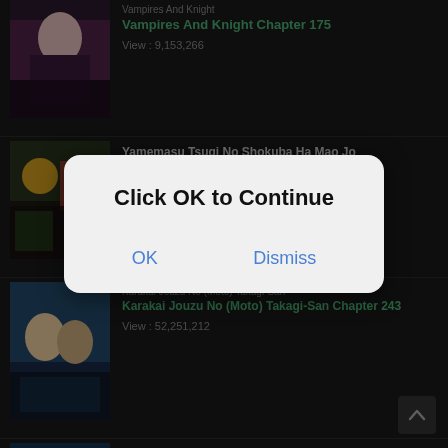[Figure (screenshot): Mobile manga reading app screenshot showing a list of manga titles on a dark background, with a modal dialog overlay saying 'Click OK to Continue' with OK and Dismiss buttons]
Vampires And Knight
Vampires And Knight Chapter 175
View : 9,153,266
Yamemasu Tsugi No Shokuba Ha Mao Jo
Yamemasu Tsugi No Shokuba Ha Mao Jo Chapter 38.1
Karakai Jouzu No (Moto) Takagi-San
Karakai Jouzu No (Moto) Takagi-San Chapter 243
View : 52,251,212
Di Qiu Di Yi Jian
Click OK to Continue
OK
Dismiss